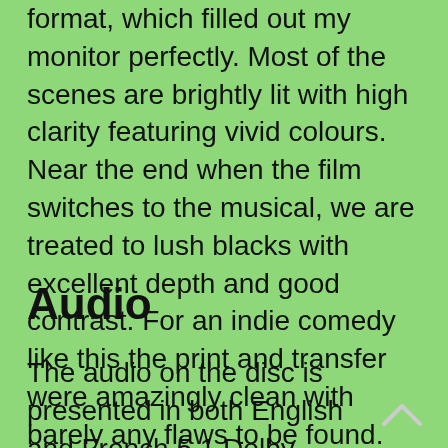format, which filled out my monitor perfectly. Most of the scenes are brightly lit with high clarity featuring vivid colours. Near the end when the film switches to the musical, we are treated to lush blacks with excellent depth and good contrast. For an indie comedy like this the print and transfer were amazingly clean with barely any flaws to be found.
Audio
The audio on the disc is presented in both English and French 5.1 Dolby Digital. Sound